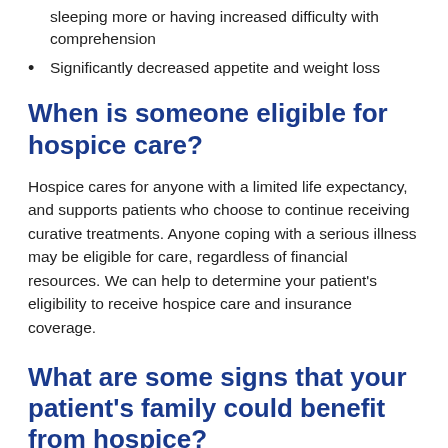sleeping more or having increased difficulty with comprehension
Significantly decreased appetite and weight loss
When is someone eligible for hospice care?
Hospice cares for anyone with a limited life expectancy, and supports patients who choose to continue receiving curative treatments. Anyone coping with a serious illness may be eligible for care, regardless of financial resources. We can help to determine your patient's eligibility to receive hospice care and insurance coverage.
What are some signs that your patient's family could benefit from hospice?